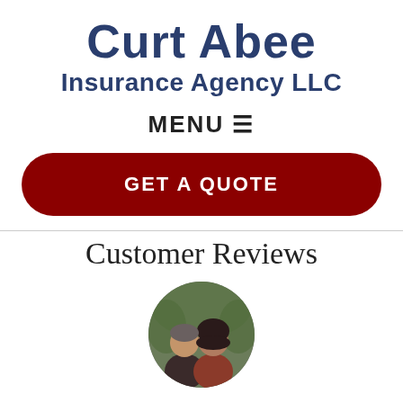Curt Abee Insurance Agency LLC
MENU ≡
GET A QUOTE
Customer Reviews
[Figure (photo): Circular profile photo of a couple, a man and a woman, outdoors with green foliage in the background.]